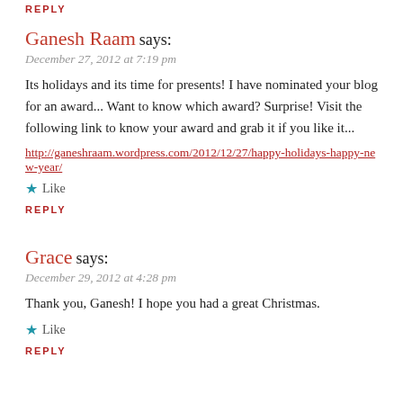REPLY
Ganesh Raam says:
December 27, 2012 at 7:19 pm
Its holidays and its time for presents! I have nominated your blog for an award... Want to know which award? Surprise! Visit the following link to know your award and grab it if you like it...
http://ganeshraam.wordpress.com/2012/12/27/happy-holidays-happy-new-year/
★ Like
REPLY
Grace says:
December 29, 2012 at 4:28 pm
Thank you, Ganesh! I hope you had a great Christmas.
★ Like
REPLY